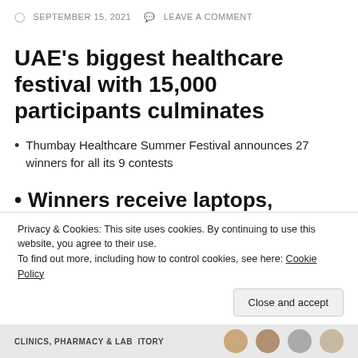SEPTEMBER 15, 2021  LEAVE A COMMENT
UAE's biggest healthcare festival with 15,000 participants culminates
Thumbay Healthcare Summer Festival announces 27 winners for all its 9 contests
Winners receive laptops, mobile phones, gifts vouchers and cash prizes, participants also receive attractive gifts
Privacy & Cookies: This site uses cookies. By continuing to use this website, you agree to their use. To find out more, including how to control cookies, see here: Cookie Policy
Close and accept